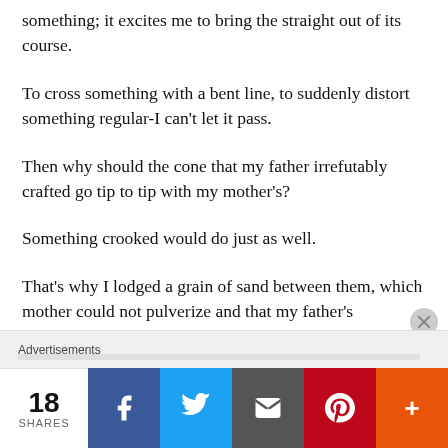something; it excites me to bring the straight out of its course.
To cross something with a bent line, to suddenly distort something regular-I can't let it pass.
Then why should the cone that my father irrefutably crafted go tip to tip with my mother's?
Something crooked would do just as well.
That's why I lodged a grain of sand between them, which mother could not pulverize and that my father's
Advertisements  18 SHARES